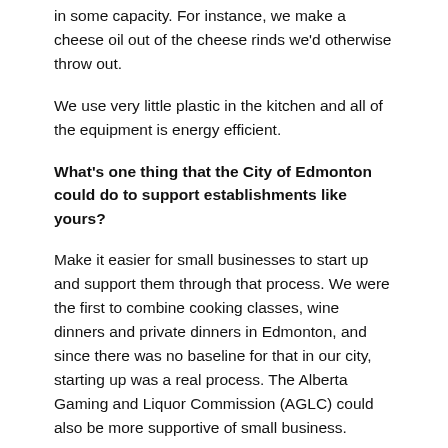in some capacity. For instance, we make a cheese oil out of the cheese rinds we'd otherwise throw out.
We use very little plastic in the kitchen and all of the equipment is energy efficient.
What's one thing that the City of Edmonton could do to support establishments like yours?
Make it easier for small businesses to start up and support them through that process. We were the first to combine cooking classes, wine dinners and private dinners in Edmonton, and since there was no baseline for that in our city, starting up was a real process. The Alberta Gaming and Liquor Commission (AGLC) could also be more supportive of small business.
What's your take on the Edmonton food and restaurant